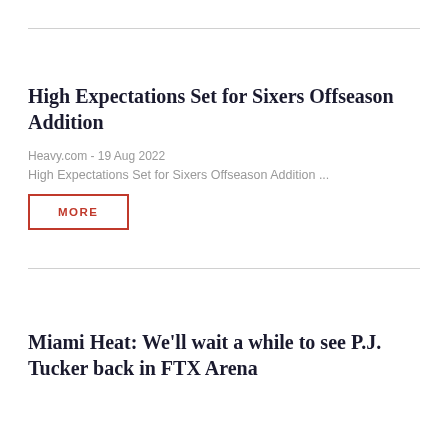High Expectations Set for Sixers Offseason Addition
Heavy.com - 19 Aug 2022
High Expectations Set for Sixers Offseason Addition ...
MORE
Miami Heat: We'll wait a while to see P.J. Tucker back in FTX Arena